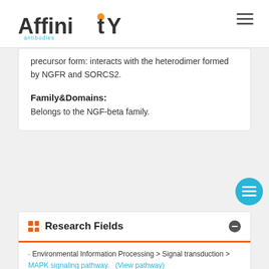Affinity (logo)
precursor form: interacts with the heterodimer formed by NGFR and SORCS2.
Family&Domains:
Belongs to the NGF-beta family.
Research Fields
· Environmental Information Processing > Signal transduction > MAPK signaling pathway.   (View pathway)
· Environmental Information Processing > Signal transduction > Ras signaling pathway.   (View pathway)
· Environmental Information Processing > Signal transduction > cAMP signaling pathway.   (View pathway)